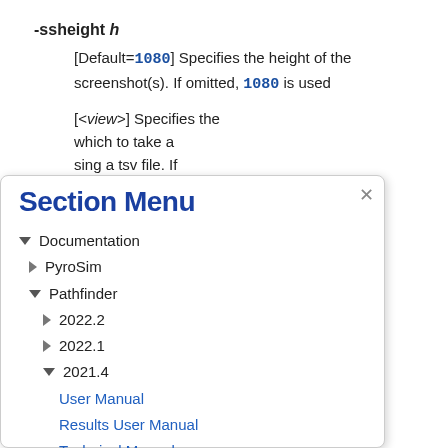-ssheight h [Default=1080] Specifies the height of the screenshot(s). If omitted, 1080 is used
[<view>] Specifies the which to take a sing a tsv file. If w saved in the d.
m which to take . This must be a of views. If any of pace, surround or example, -View,View 3".
Section Menu
Documentation
PyroSim
Pathfinder
2022.2
2022.1
2021.4
User Manual
Results User Manual
Technical Manual
Verification and Validation
Monte Carlo User Manual
Scripting API Manual
Software QA Plan